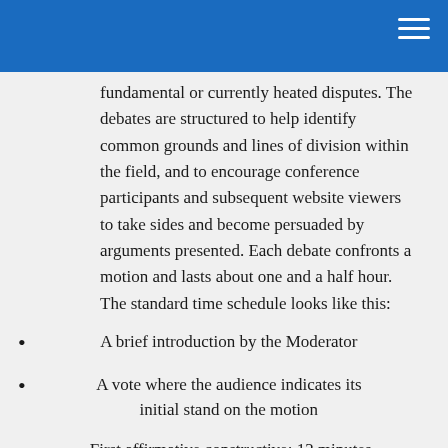fundamental or currently heated disputes. The debates are structured to help identify common grounds and lines of division within the field, and to encourage conference participants and subsequent website viewers to take sides and become persuaded by arguments presented. Each debate confronts a motion and lasts about one and a half hour. The standard time schedule looks like this:
A brief introduction by the Moderator
A vote where the audience indicates its initial stand on the motion
First affirmative constructive: 12 minutes
First negative constructive: 12 minutes
Second affirmative constructive: 12